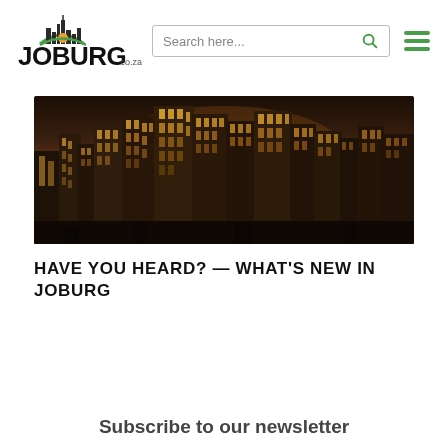[Figure (logo): JOBURG.co.za logo with city skyline icon and green arch]
[Figure (other): Search bar with 'Search here...' placeholder and green magnifying glass icon]
[Figure (other): Green hamburger menu icon (three horizontal bars)]
[Figure (photo): Aerial nighttime photo of Johannesburg city skyline with lit office buildings]
HAVE YOU HEARD? — WHAT'S NEW IN JOBURG
Subscribe to our newsletter